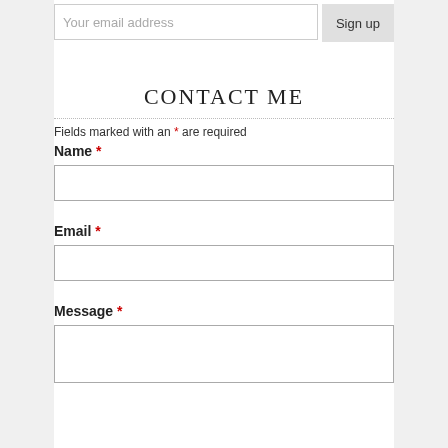Your email address
Sign up
CONTACT ME
Fields marked with an * are required
Name *
Email *
Message *